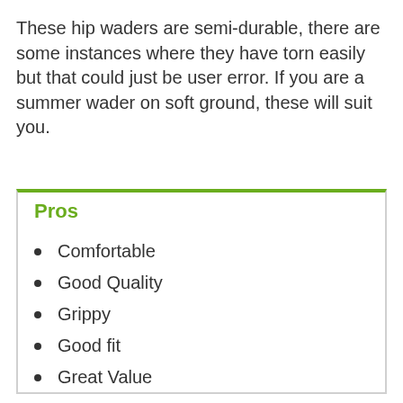These hip waders are semi-durable, there are some instances where they have torn easily but that could just be user error. If you are a summer wader on soft ground, these will suit you.
Pros
Comfortable
Good Quality
Grippy
Good fit
Great Value